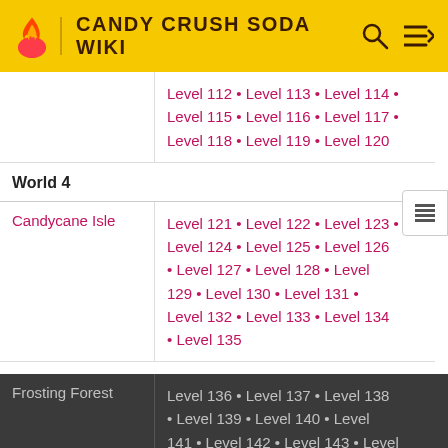CANDY CRUSH SODA WIKI
| Area | Levels |
| --- | --- |
| (continuation) | Level 112 • Level 113 • Level 114 • Level 115 • Level 116 • Level 117 • Level 118 • Level 119 • Level 120 |
| World 4 |  |
| Candycane Isle | Level 121 • Level 122 • Level 123 • Level 124 • Level 125 • Level 126 • Level 127 • Level 128 • Level 129 • Level 130 • Level 131 • Level 132 • Level 133 • Level 134 • Level 135 |
| Frosting Forest | Level 136 • Level 137 • Level 138 • Level 139 • Level 140 • Level 141 • Level 142 • Level 143 • Level 144 • Level 145 • Level 146 • Level 147 • Level 148 • Level 149 • Level 150 |